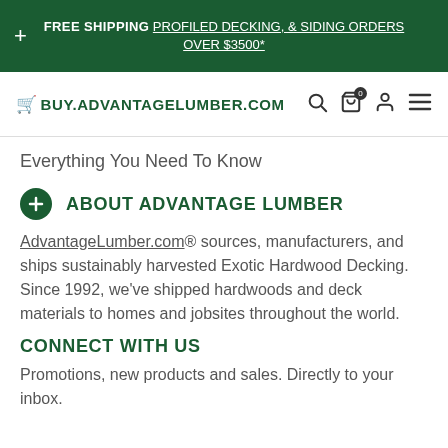FREE SHIPPING PROFILED DECKING, & SIDING ORDERS OVER $3500*
Buy.AdvantageLumber.com
Everything You Need To Know
ABOUT ADVANTAGE LUMBER
AdvantageLumber.com® sources, manufacturers, and ships sustainably harvested Exotic Hardwood Decking. Since 1992, we've shipped hardwoods and deck materials to homes and jobsites throughout the world.
CONNECT WITH US
Promotions, new products and sales. Directly to your inbox.